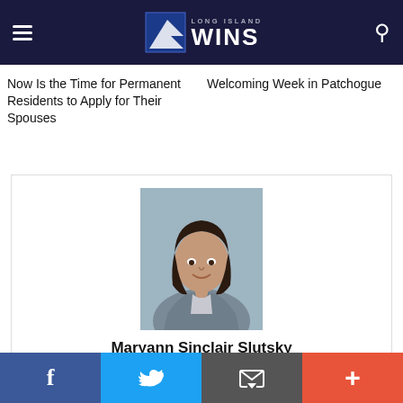Long Island Wins
Now Is the Time for Permanent Residents to Apply for Their Spouses
Welcoming Week in Patchogue
[Figure (photo): Headshot of Maryann Sinclair Slutsky, a woman with dark hair, wearing a gray blazer and polka-dot top, against a gray background]
Maryann Sinclair Slutsky
Maryann Sinclair Slutsky is the Executive Director of Long Island Wins, a nonprofit communications organization that focuses on immigration